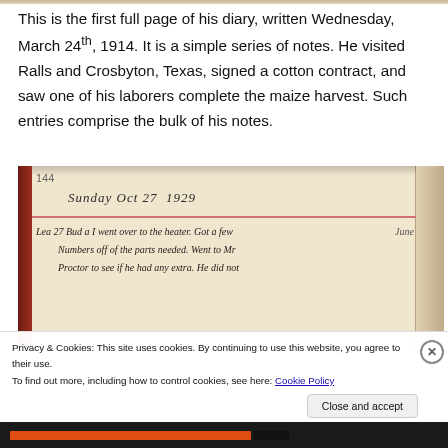This is the first full page of his diary, written Wednesday, March 24th, 1914. It is a simple series of notes. He visited Ralls and Crosbyton, Texas, signed a cotton contract, and saw one of his laborers complete the maize harvest. Such entries comprise the bulk of his notes.
[Figure (photo): A photograph of an open handwritten diary showing page 144, with the entry 'Sunday Oct 27 1929' and cursive text beginning 'Lea 27 Bud and I went over to the heater. Got a few numbers off of the parts needed. Went to Mr Proctor to see if he had any extra. He did not...']
Privacy & Cookies: This site uses cookies. By continuing to use this website, you agree to their use.
To find out more, including how to control cookies, see here: Cookie Policy
Close and accept